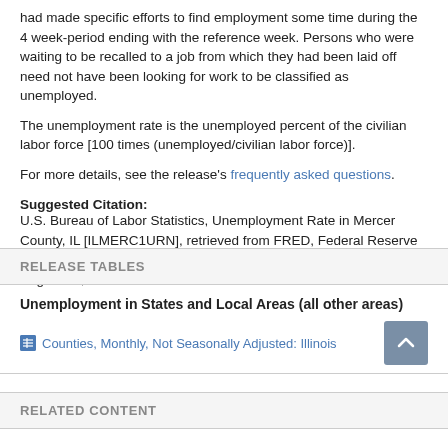had made specific efforts to find employment some time during the 4 week-period ending with the reference week. Persons who were waiting to be recalled to a job from which they had been laid off need not have been looking for work to be classified as unemployed.
The unemployment rate is the unemployed percent of the civilian labor force [100 times (unemployed/civilian labor force)].
For more details, see the release's frequently asked questions.
Suggested Citation:
U.S. Bureau of Labor Statistics, Unemployment Rate in Mercer County, IL [ILMERC1URN], retrieved from FRED, Federal Reserve Bank of St. Louis; https://fred.stlouisfed.org/series/ILMERC1URN, August 21, 2022.
RELEASE TABLES
Unemployment in States and Local Areas (all other areas)
Counties, Monthly, Not Seasonally Adjusted: Illinois
RELATED CONTENT